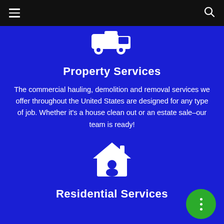Navigation bar with hamburger menu and search icon
[Figure (illustration): White truck/van icon on blue background]
Property Services
The commercial hauling, demolition and removal services we offer throughout the United States are designed for any type of job. Whether it's a house clean out or an estate sale–our team is ready!
[Figure (illustration): White house with person icon on blue background]
Residential Services